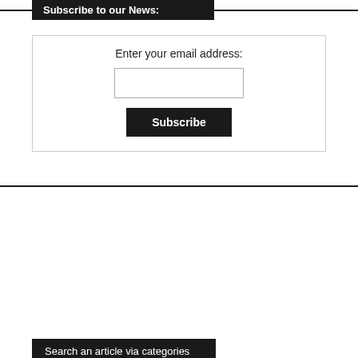Subscribe to our News:
Enter your email address:
Subscribe
Search an article via categories
Startup  (4)
[Figure (photo): Promotional banner for SBD Automotive with text 'Join SBD Automotive and help shape the future of the automotive industry' overlaid on a dark automotive industry background image.]